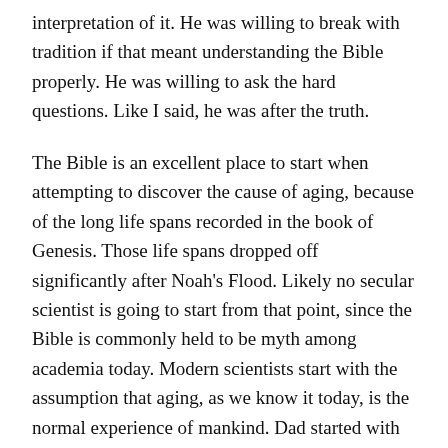interpretation of it. He was willing to break with tradition if that meant understanding the Bible properly. He was willing to ask the hard questions. Like I said, he was after the truth.
The Bible is an excellent place to start when attempting to discover the cause of aging, because of the long life spans recorded in the book of Genesis. Those life spans dropped off significantly after Noah's Flood. Likely no secular scientist is going to start from that point, since the Bible is commonly held to be myth among academia today. Modern scientists start with the assumption that aging, as we know it today, is the normal experience of mankind. Dad started with the assumption that it is not normal at all according to the early chapters of Genesis. He also started with a set of data points unlike any other in the known history of the world, with the key knowledge that the data